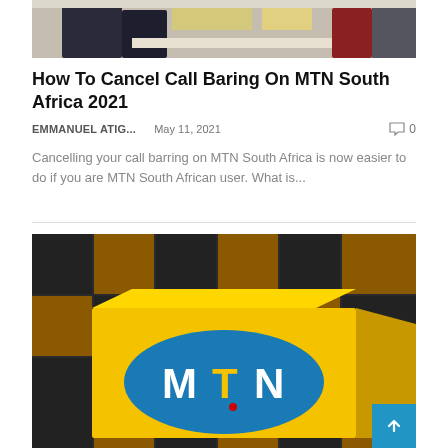[Figure (photo): Top portion of a photo showing people inside what appears to be an MTN store, partially cropped]
How To Cancel Call Baring On MTN South Africa 2021
EMMANUEL ATIG...    May 11, 2021    0
Cancelling your call barring on MTN South Africa is now easier to do if you are MTN South African user. What is...
[Figure (photo): MTN logo on a blue oval shape placed on a large yellow 3D block cube against a dark gray geometric background]